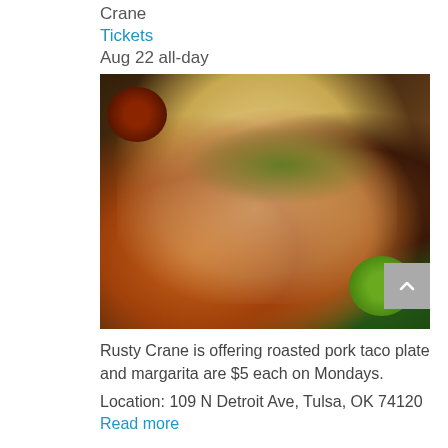Crane
Tickets
Aug 22 all-day
[Figure (photo): A plate of three roasted pork tacos with cilantro and onion toppings, served on a rectangular plate with bowls of salsa on the sides, on a dark wood table.]
Rusty Crane is offering roasted pork taco plate and margarita are $5 each on Mondays.
Location: 109 N Detroit Ave, Tulsa, OK 74120
Read more